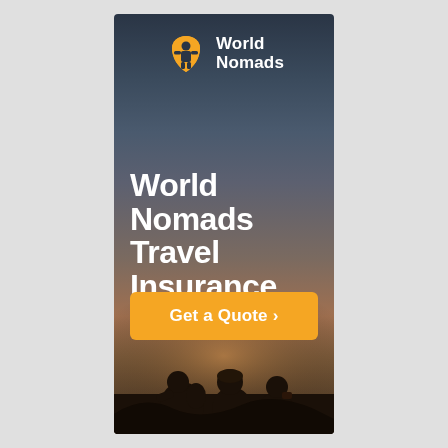[Figure (logo): World Nomads logo: golden stylized figure/mask icon with 'World Nomads' text in white on dark background]
World Nomads Travel Insurance
[Figure (photo): Silhouettes of three people sitting/standing against a warm glowing sunset sky with mountain ridges]
Get a Quote >